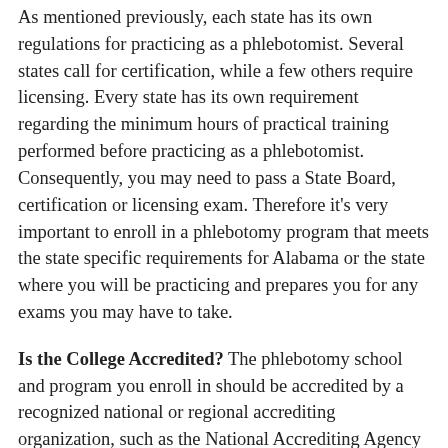As mentioned previously, each state has its own regulations for practicing as a phlebotomist. Several states call for certification, while a few others require licensing. Every state has its own requirement regarding the minimum hours of practical training performed before practicing as a phlebotomist. Consequently, you may need to pass a State Board, certification or licensing exam. Therefore it's very important to enroll in a phlebotomy program that meets the state specific requirements for Alabama or the state where you will be practicing and prepares you for any exams you may have to take.
Is the College Accredited? The phlebotomy school and program you enroll in should be accredited by a recognized national or regional accrediting organization, such as the National Accrediting Agency for Clinical Laboratory Sciences (NAACLS). There are many benefits to graduating from an accredited school in addition to a